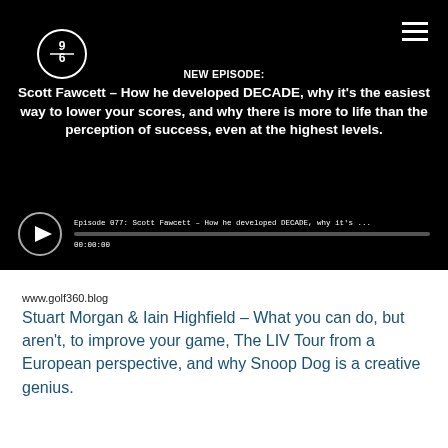[Figure (logo): Golf 360 circular logo with '360' text in a circle]
NEW EPISODE:
Scott Fawcett – How he developed DECADE, why it's the easiest way to lower your scores, and why there is more to life than the perception of success, even at the highest levels.
[Figure (screenshot): Audio player showing Episode 077: Scott Fawcett – How he developed DECADE, why it's ... with progress bar showing 00:00:00]
www.golf360.blog
Stuart Morgan & Iain Highfield – What you can do, but aren't, to improve your game, The LIV Tour from a European perspective, and why Snoop Dog is a creative genius.